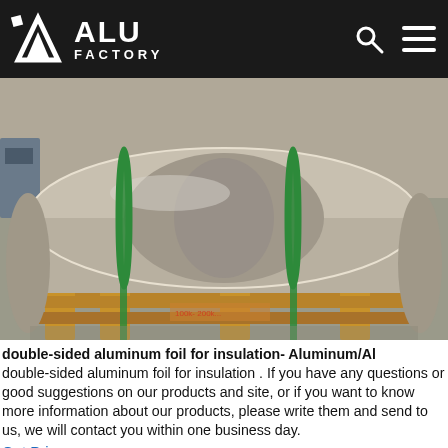ALU FACTORY
[Figure (photo): Large roll of aluminum foil on a wooden pallet in a factory warehouse, secured with green straps]
double-sided aluminum foil for insulation- Aluminum/Al double-sided aluminum foil for insulation . If you have any questions or good suggestions on our products and site, or if you want to know more information about our products, please write them and send to us, we will contact you within one business day.
Get Price
[Figure (photo): Partial view of aluminum products inside a factory warehouse]
Home  Skype  E-Mail  Inquiry